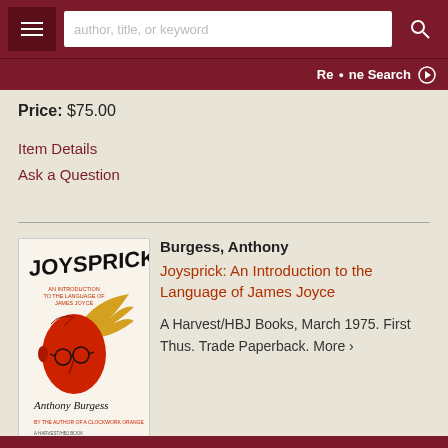author, title, or keyword | Refine Search
Price: $75.00
Item Details
Ask a Question
Burgess, Anthony
Joysprick: An Introduction to the Language of James Joyce
A Harvest/HBJ Books, March 1975. First Thus. Trade Paperback. More >
[Figure (illustration): Book cover of Joysprick by Anthony Burgess showing a stylized red face with winged helmet on a white background]